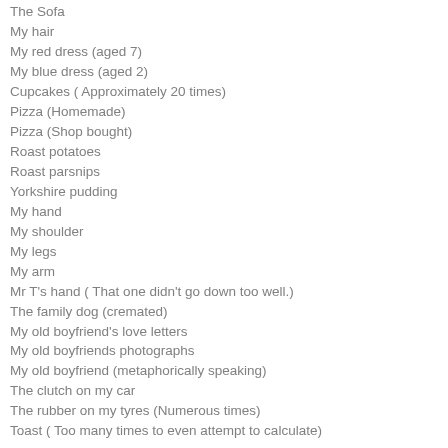The Sofa
My hair
My red dress (aged 7)
My blue dress (aged 2)
Cupcakes ( Approximately 20 times)
Pizza (Homemade)
Pizza (Shop bought)
Roast potatoes
Roast parsnips
Yorkshire pudding
My hand
My shoulder
My legs
My arm
Mr T's hand ( That one didn't go down too well.)
The family dog (cremated)
My old boyfriend's love letters
My old boyfriends photographs
My old boyfriend (metaphorically speaking)
The clutch on my car
The rubber on my tyres (Numerous times)
Toast ( Too many times to even attempt to calculate)